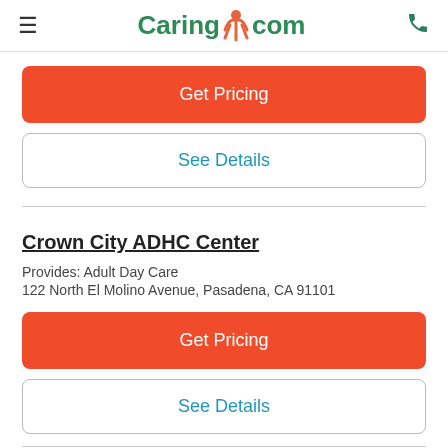Caring.com
Get Pricing
See Details
Crown City ADHC Center
Provides: Adult Day Care
122 North El Molino Avenue, Pasadena, CA 91101
Get Pricing
See Details